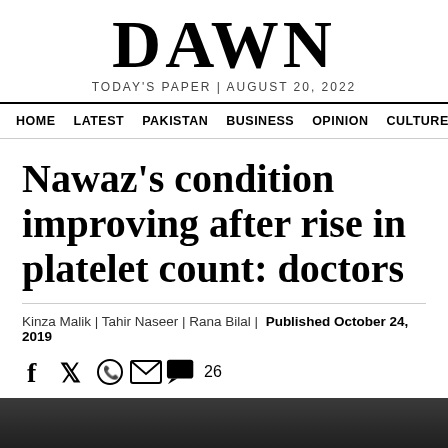DAWN
TODAY'S PAPER | AUGUST 20, 2022
HOME  LATEST  PAKISTAN  BUSINESS  OPINION  CULTURE
Nawaz's condition improving after rise in platelet count: doctors
Kinza Malik | Tahir Naseer | Rana Bilal |  Published October 24, 2019
[Figure (photo): Dark photograph partially visible at bottom of page]